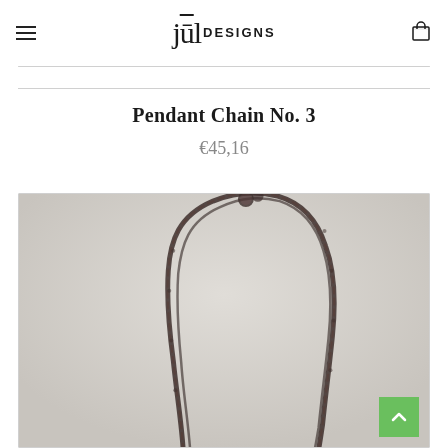jūl DESIGNS — navigation header with hamburger menu and cart icon
Pendant Chain No. 3
€45,16
[Figure (photo): Close-up photograph of a pendant chain (No. 3) forming an arch/loop shape against a light grey background. The chain appears dark/black, slightly blurred, showing the texture and links of the chain.]